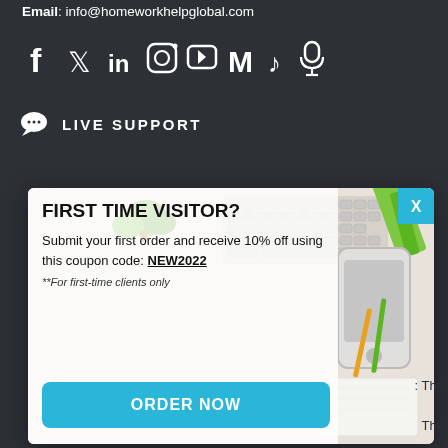Email: info@homeworkhelpglobal.com
[Figure (illustration): Social media icons row: Facebook, Twitter, LinkedIn, Instagram, YouTube, Medium, TikTok, Microphone]
LIVE SUPPORT
[Figure (screenshot): Popup modal with 'FIRST TIME VISITOR?' heading, offer text 'Submit your first order and receive 10% off using this coupon code: NEW2022', disclaimer '**For first-time clients only', and 'ORDER NOW' button. Background shows desk with keyboard, phone, plant, pencils. Close button X in top right corner.]